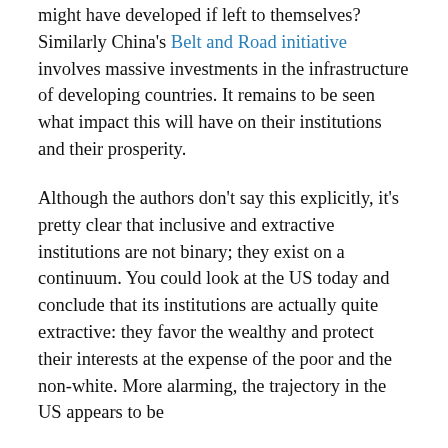might have developed if left to themselves.  Similarly China's Belt and Road initiative involves massive investments in the infrastructure of developing countries. It remains to be seen what impact this will have on their institutions and their prosperity.
Although the authors don't say this explicitly, it's pretty clear that inclusive and extractive institutions are not binary; they exist on a continuum. You could look at the US today and conclude that its institutions are actually quite extractive: they favor the wealthy and protect their interests at the expense of the poor and the non-white. More alarming, the trajectory in the US appears to be